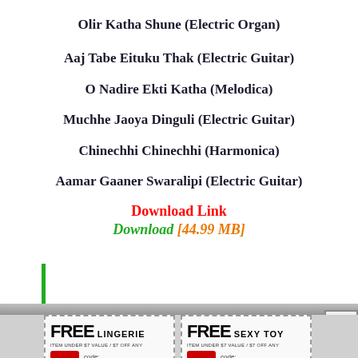Olir Katha Shune (Electric Organ)
Aaj Tabe Eituku Thak (Electric Guitar)
O Nadire Ekti Katha (Melodica)
Muchhe Jaoya Dinguli (Electric Guitar)
Chinechhi Chinechhi (Harmonica)
Aamar Gaaner Swaralipi (Electric Guitar)
Download Link
Download [44.99 MB]
[Figure (other): Advertisement banner with two coupon boxes: FREE LINGERIE (code SGV001A) and FREE SEXY TOY (code SGV001B), each with LUST DEPOT branding and Limit First 50 Customers Only text]